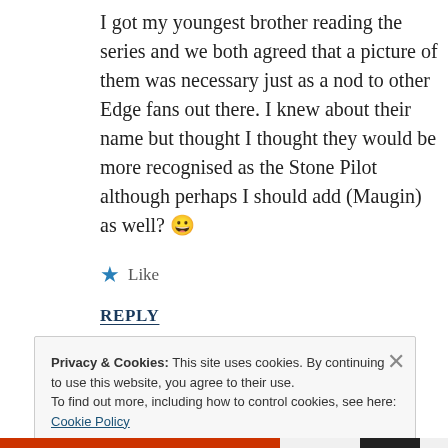I got my youngest brother reading the series and we both agreed that a picture of them was necessary just as a nod to other Edge fans out there. I knew about their name but thought I thought they would be more recognised as the Stone Pilot although perhaps I should add (Maugin) as well? 😀
★ Like
REPLY
Privacy & Cookies: This site uses cookies. By continuing to use this website, you agree to their use.
To find out more, including how to control cookies, see here: Cookie Policy
Close and accept